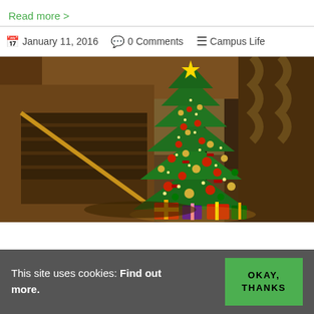Read more >
January 11, 2016  0 Comments  Campus Life
[Figure (photo): A decorated Christmas tree with red and gold ornaments in a hotel lobby with escalators visible in the background. Gifts are at the base of the tree.]
This site uses cookies: Find out more. OKAY, THANKS